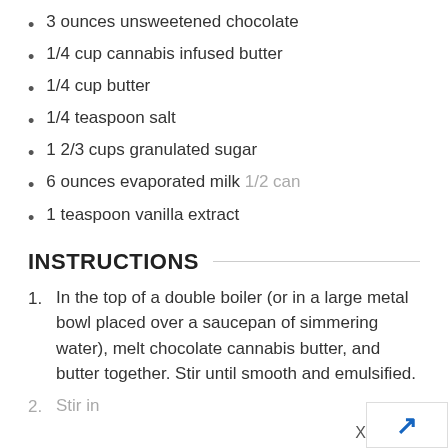3 ounces unsweetened chocolate
1/4 cup cannabis infused butter
1/4 cup butter
1/4 teaspoon salt
1 2/3 cups granulated sugar
6 ounces evaporated milk 1/2 can
1 teaspoon vanilla extract
INSTRUCTIONS
In the top of a double boiler (or in a large metal bowl placed over a saucepan of simmering water), melt chocolate cannabis butter, and butter together. Stir until smooth and emulsified.
Stir in...